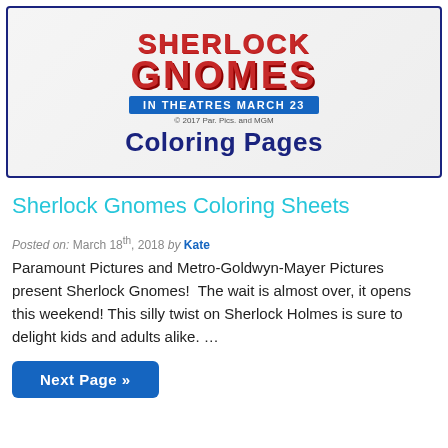[Figure (illustration): Sherlock Gnomes movie promotional banner showing cartoon gnome characters on the left, logo with 'SHERLOCK GNOMES' in red, 'IN THEATRES MARCH 23' in blue banner, '© 2017 Par. Pics. and MGM' copyright, 'Coloring Pages' in dark blue bold text, and a frog/toad character on the right. Blue border around entire image.]
Sherlock Gnomes Coloring Sheets
Posted on: March 18th, 2018 by Kate
Paramount Pictures and Metro-Goldwyn-Mayer Pictures present Sherlock Gnomes!  The wait is almost over, it opens this weekend! This silly twist on Sherlock Holmes is sure to delight kids and adults alike. …
Next Page »